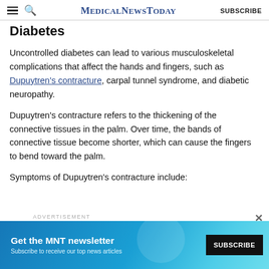MedicalNewsToday | SUBSCRIBE
Diabetes
Uncontrolled diabetes can lead to various musculoskeletal complications that affect the hands and fingers, such as Dupuytren's contracture, carpal tunnel syndrome, and diabetic neuropathy.
Dupuytren's contracture refers to the thickening of the connective tissues in the palm. Over time, the bands of connective tissue become shorter, which can cause the fingers to bend toward the palm.
Symptoms of Dupuytren's contracture include:
[Figure (other): Advertisement banner for MNT newsletter with blue background, 'Get the MNT newsletter' headline, 'Subscribe to receive our top news articles' subtext, and a SUBSCRIBE button.]